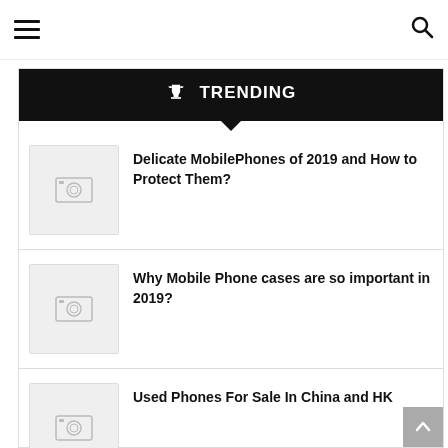Navigation bar with hamburger menu and search icon
🏆 TRENDING
Delicate MobilePhones of 2019 and How to Protect Them?
Why Mobile Phone cases are so important in 2019?
Used Phones For Sale In China and HK
Wholesale Refurbished Mobile Phones In Chi...